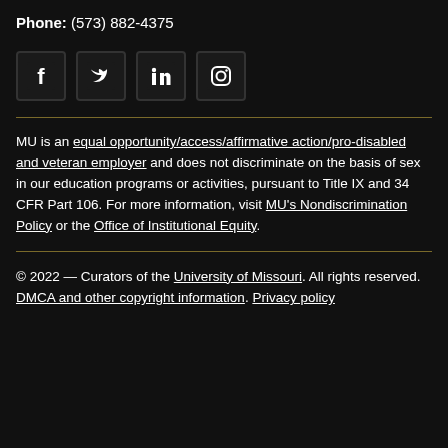Phone: (573) 882-4375
[Figure (illustration): Social media icons: Facebook, Twitter, LinkedIn, Instagram]
MU is an equal opportunity/access/affirmative action/pro-disabled and veteran employer and does not discriminate on the basis of sex in our education programs or activities, pursuant to Title IX and 34 CFR Part 106. For more information, visit MU's Nondiscrimination Policy or the Office of Institutional Equity.
© 2022 — Curators of the University of Missouri. All rights reserved. DMCA and other copyright information. Privacy policy.